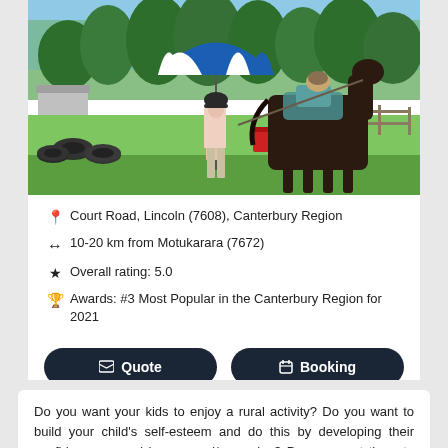[Figure (photo): Outdoor photo showing a person wearing a riding helmet holding an umbrella (blue and white) next to a dark horse with a saddle pad, in a rural setting with grass, trees, and tires in the foreground.]
Court Road, Lincoln (7608), Canterbury Region
10-20 km from Motukarara (7672)
Overall rating: 5.0
Awards: #3 Most Popular in the Canterbury Region for 2021
Quote
Booking
Contact me
Email
www
Do you want your kids to enjoy a rural activity? Do you want to build your child's self-esteem and do this by developing their confidence around horses and/or ponies? Do you want them to learn life skills not just how to ride a horse? Do you want them to have a special friend who